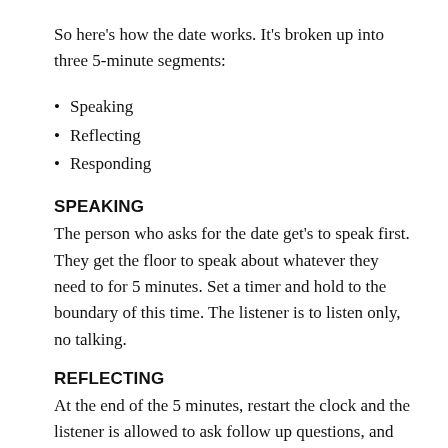So here's how the date works. It's broken up into three 5-minute segments:
Speaking
Reflecting
Responding
SPEAKING
The person who asks for the date get's to speak first. They get the floor to speak about whatever they need to for 5 minutes. Set a timer and hold to the boundary of this time. The listener is to listen only, no talking.
REFLECTING
At the end of the 5 minutes, restart the clock and the listener is allowed to ask follow up questions, and reflect back what they heard (not the interpretation) the speaker say. This is space is still about the speaker, and their